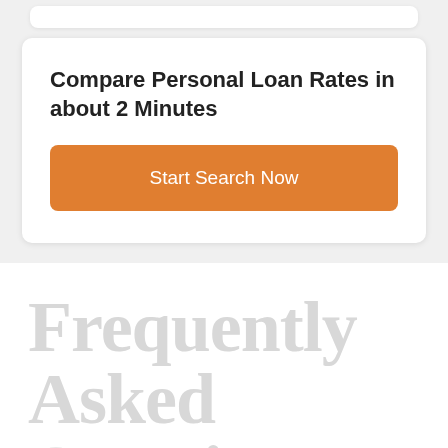Compare Personal Loan Rates in about 2 Minutes
Start Search Now
Frequently Asked Questions
What is a personal loan?